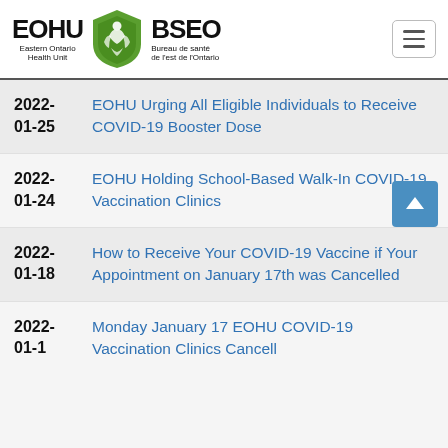[Figure (logo): EOHU / BSEO Eastern Ontario Health Unit logo with green shield and bilingual text, plus hamburger menu button]
2022-01-25 | EOHU Urging All Eligible Individuals to Receive COVID-19 Booster Dose
2022-01-24 | EOHU Holding School-Based Walk-In COVID-19 Vaccination Clinics
2022-01-18 | How to Receive Your COVID-19 Vaccine if Your Appointment on January 17th was Cancelled
2022-01-17 | Monday January 17 EOHU COVID-19 Vaccination Clinics Cancelled